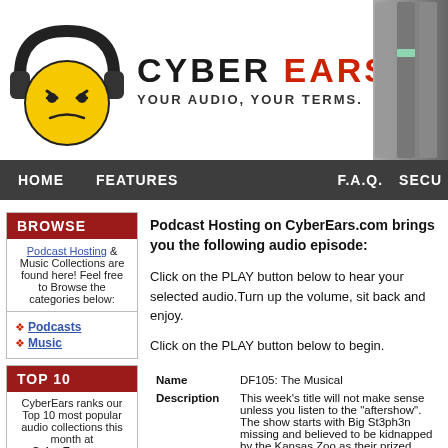[Figure (logo): CyberEars logo: yellow smiley face with headphones and angry eyes, with brand name CYBER EARS TM and tagline YOUR AUDIO, YOUR TERMS.]
HOME   FEATURES   F.A.Q.   SECU
BROWSE
Podcast Hosting & Music Collections are found here! Feel free to Browse the categories below:
Podcasts
Music
TOP 10
CyberEars ranks our Top 10 most popular audio collections this month at CyberEars.com
1 Mountain Stage Podcast
2 The Evan Brand Show
3 DDOcast
4 Binnall of America: Audio
Podcast Hosting on CyberEars.com brings you the following audio episode:
Click on the PLAY button below to hear your selected audio.Turn up the volume, sit back and enjoy.
Click on the PLAY button below to begin.
|  |  |
| --- | --- |
| Name | DF105: The Musical |
| Description | This week's title will not make sense unless you listen to the "aftershow". The show starts with Big St3ph3n missing and believed to be kidnapped by the Kansas Zoo as their prized exhibit. Rob tries to hold down the show with help from Kitsune from Japan, Kari's friend Pratt, Rob's mom and tons of callers to save the show. We talk about what's going on with Splinter Cell Conviction, why Rob is fighting with Stephen, and then talk about Pokemon Heartgold and Soulsilver. |